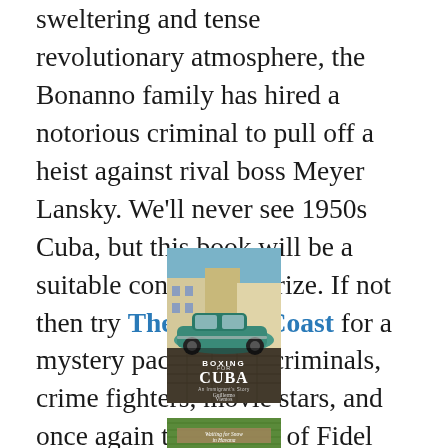sweltering and tense revolutionary atmosphere, the Bonanno family has hired a notorious criminal to pull off a heist against rival boss Meyer Lansky. We'll never see 1950s Cuba, but this book will be a suitable consolation prize. If not then try The Mojito Coast for a mystery packed with criminals, crime fighters, movie stars, and once again the specter of Fidel Castro knocking on Havana's door.
[Figure (photo): Book cover of 'Boxing for Cuba' showing a vintage teal car on a Cuban cobblestone street, with the title text and author name Guillermo Vientos Vidal overlaid.]
[Figure (photo): Book cover of 'Waiting for Snow in Havana' partially visible at the bottom of the page, showing a green tropical leaf background with title text.]